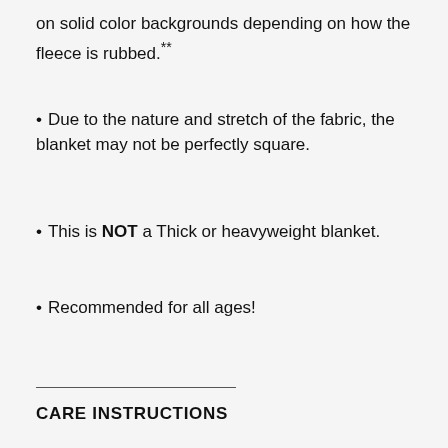on solid color backgrounds depending on how the fleece is rubbed.**
Due to the nature and stretch of the fabric, the blanket may not be perfectly square.
This is NOT a Thick or heavyweight blanket.
Recommended for all ages!
CARE INSTRUCTIONS